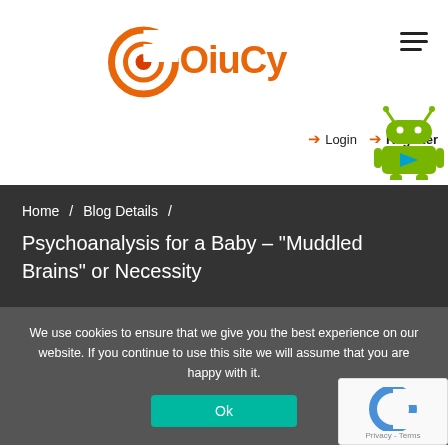[Figure (logo): OiuCy website logo — orange circular icon with C shape and dot, followed by text 'OiuCy' in orange]
Login   Register
[Figure (illustration): Android robot mascot with green body and Google Play triangle icon on chest]
Home / Blog Details / Psychoanalysis for a Baby – "Muddled Brains" or Necessity
We use cookies to ensure that we give you the best experience on our website. If you continue to use this site we will assume that you are happy with it.
Ok
[Figure (other): reCAPTCHA widget showing blue C logo and 'Privacy - Terms' text]